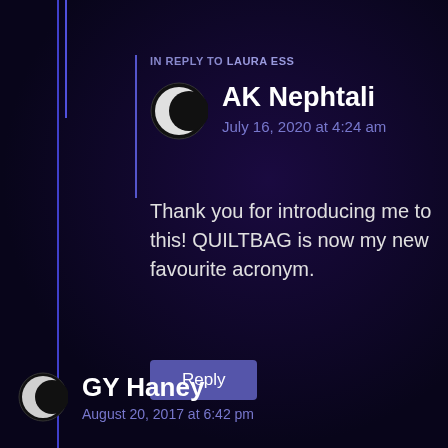IN REPLY TO LAURA ESS
AK Nephtali
July 16, 2020 at 4:24 am
Thank you for introducing me to this! QUILTBAG is now my new favourite acronym.
GY Haney
August 20, 2017 at 6:42 pm